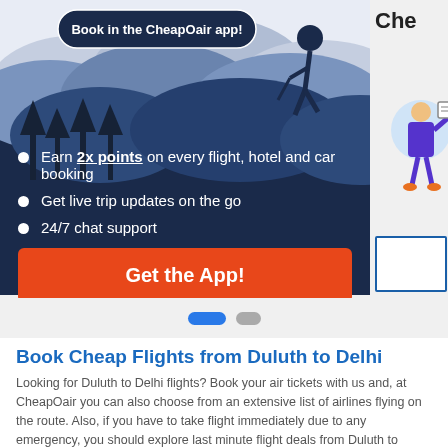[Figure (screenshot): CheapOair app promotion banner with dark blue mountain scene background, hiker silhouette, bullet points listing app benefits, and orange 'Get the App!' button]
[Figure (illustration): Partial right panel showing 'Che' heading and a character holding a ticket illustration]
Book Cheap Flights from Duluth to Delhi
Looking for Duluth to Delhi flights? Book your air tickets with us and, at CheapOair you can also choose from an extensive list of airlines flying on the route. Also, if you have to take flight immediately due to any emergency, you should explore last minute flight deals from Duluth to Delhi. Book your plane tickets now!